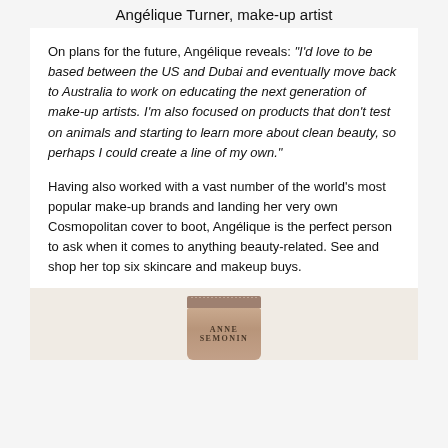Angélique Turner, make-up artist
On plans for the future, Angélique reveals: “I’d love to be based between the US and Dubai and eventually move back to Australia to work on educating the next generation of make-up artists. I’m also focused on products that don’t test on animals and starting to learn more about clean beauty, so perhaps I could create a line of my own.”
Having also worked with a vast number of the world’s most popular make-up brands and landing her very own Cosmopolitan cover to boot, Angélique is the perfect person to ask when it comes to anything beauty-related. See and shop her top six skincare and makeup buys.
[Figure (photo): Partial image of an Anne Semonin product tube (skincare/makeup) with beige/tan coloring, cap visible at top, brand name ANNE SEMONIN printed on the body]